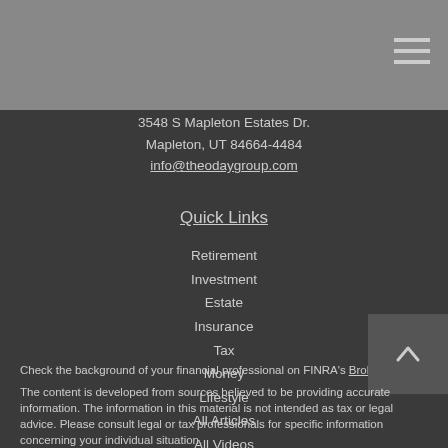3548 S Mapleton Estates Dr.
Mapleton, UT 84664-4484
info@theodaygroup.com
Quick Links
Retirement
Investment
Estate
Insurance
Tax
Money
Lifestyle
All Articles
All Videos
All Calculators
All Presentations
Check the background of your financial professional on FINRA's BrokerCheck.
The content is developed from sources believed to be providing accurate information. The information in this material is not intended as tax or legal advice. Please consult legal or tax professionals for specific information concerning your individual situation.